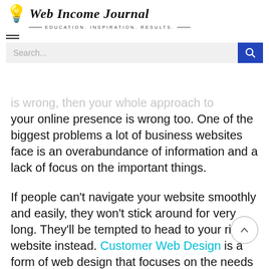Web Income Journal — EDUCATION. INSPIRATION. RESULTS.
[Figure (screenshot): Hamburger menu icon (two horizontal lines)]
[Figure (screenshot): Search bar with placeholder text 'Search...' and a blue search button with magnifying glass icon]
is wrong, then your whole approach to your online presence is wrong too. One of the biggest problems a lot of business websites face is an overabundance of information and a lack of focus on the important things.
If people can't navigate your website smoothly and easily, they won't stick around for very long. They'll be tempted to head to your rival's website instead. Customer Web Design is a form of web design that focuses on the needs of the